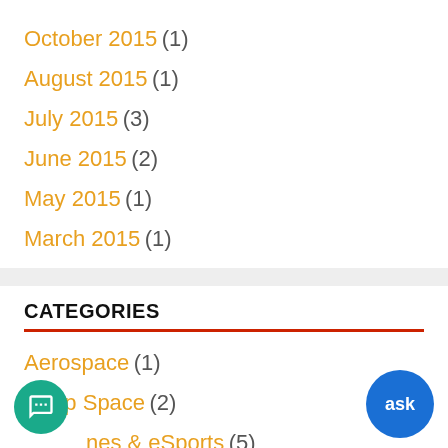October 2015 (1)
August 2015 (1)
July 2015 (3)
June 2015 (2)
May 2015 (1)
March 2015 (1)
CATEGORIES
Aerospace (1)
Deep Space (2)
nes & eSports (5)
Entrepreneurship (2)